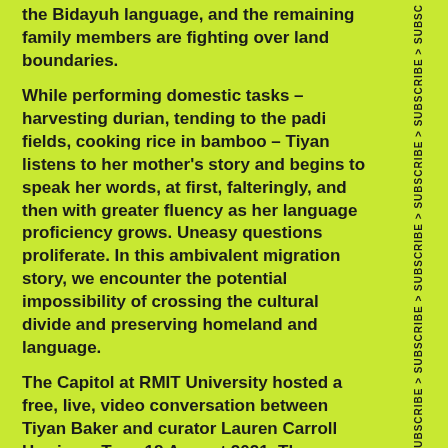the Bidayuh language, and the remaining family members are fighting over land boundaries.
While performing domestic tasks – harvesting durian, tending to the padi fields, cooking rice in bamboo – Tiyan listens to her mother's story and begins to speak her words, at first, falteringly, and then with greater fluency as her language proficiency grows. Uneasy questions proliferate. In this ambivalent migration story, we encounter the potential impossibility of crossing the cultural divide and preserving homeland and language.
The Capitol at RMIT University hosted a free, live, video conversation between Tiyan Baker and curator Lauren Carroll Harris on Tues 18 August 2021. The conversation is archived on The Capitol's website for you to watch back.
[Figure (logo): The Capitol logo and RMIT University logo side by side separated by a vertical divider]
This project was assisted by The Freedman Foundation Travelling Scholarship for Emerging Artists. The program is administered by the National Association